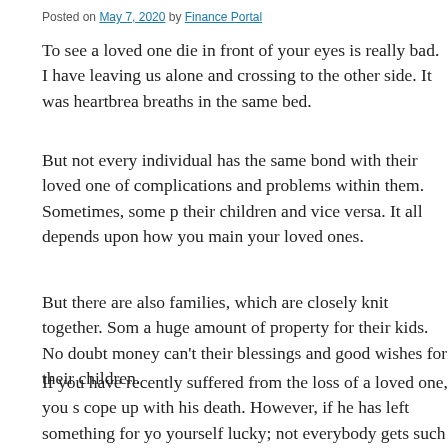Posted on May 7, 2020 by Finance Portal
To see a loved one die in front of your eyes is really bad. I have leaving us alone and crossing to the other side. It was heartbrea breaths in the same bed.
But not every individual has the same bond with their loved one of complications and problems within them. Sometimes, some p their children and vice versa. It all depends upon how you main your loved ones.
But there are also families, which are closely knit together. Som a huge amount of property for their kids. No doubt money can't their blessings and good wishes for their children.
If you have recently suffered from the loss of a loved one, you s cope up with his death. However, if he has left something for yo yourself lucky; not everybody gets such a gift!